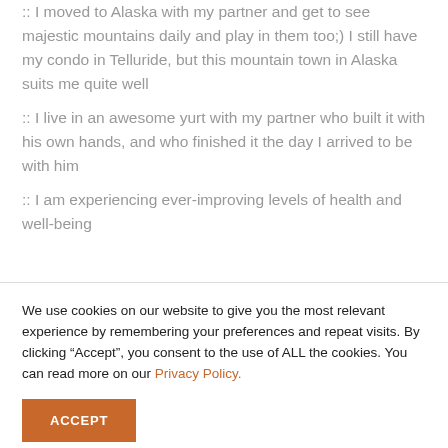:: I moved to Alaska with my partner and get to see majestic mountains daily and play in them too;) I still have my condo in Telluride, but this mountain town in Alaska suits me quite well
:: I live in an awesome yurt with my partner who built it with his own hands, and who finished it the day I arrived to be with him
:: I am experiencing ever-improving levels of health and well-being
We use cookies on our website to give you the most relevant experience by remembering your preferences and repeat visits. By clicking “Accept”, you consent to the use of ALL the cookies. You can read more on our Privacy Policy.